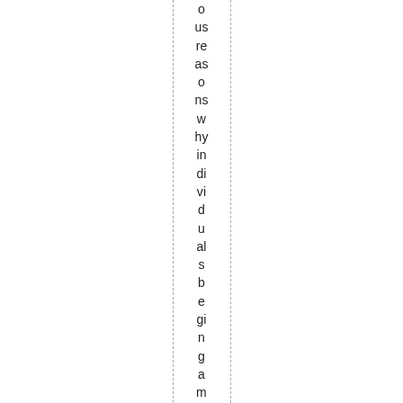o us re as o ns w hy in di vi d u al s b e gi n g a m bli n g o n bi n g